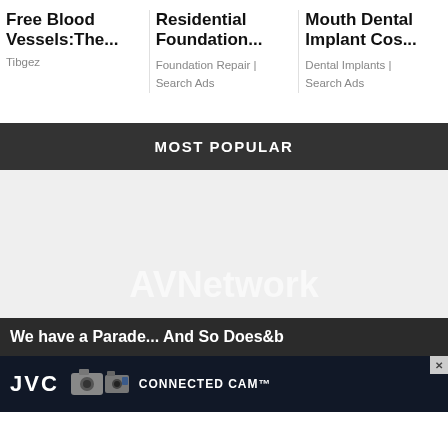Free Blood Vessels:The...
Tibgez
Residential Foundation...
Foundation Repair | Search Ads
Mouth Dental Implant Cos...
Dental Implants | Search Ads
MOST POPULAR
[Figure (screenshot): AVNetwork logo watermark on light gray background]
We have a Parade... And So Does&b
[Figure (photo): JVC Connected Cam advertisement banner with JVC logo and camera images]